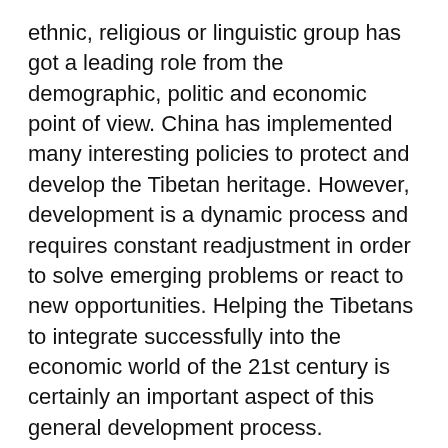ethnic, religious or linguistic group has got a leading role from the demographic, politic and economic point of view. China has implemented many interesting policies to protect and develop the Tibetan heritage. However, development is a dynamic process and requires constant readjustment in order to solve emerging problems or react to new opportunities. Helping the Tibetans to integrate successfully into the economic world of the 21st century is certainly an important aspect of this general development process.
The description of this "development model with Tibetan characteristics" will clearly reveal what we can do to help local entrepreneurs in the Tibetan areas to be successful in the fields of retail trade and tourism. This potential help spans from knowledge transfer and business relations to providing capital and increased visibility. An association will be founded to implement on a small scale some of the measures proposed here in order to check their feasibility.
One of the objectives of the present project is to put at the disposal of policy makers in China and other countries in a similar situation, a general framework for the development of